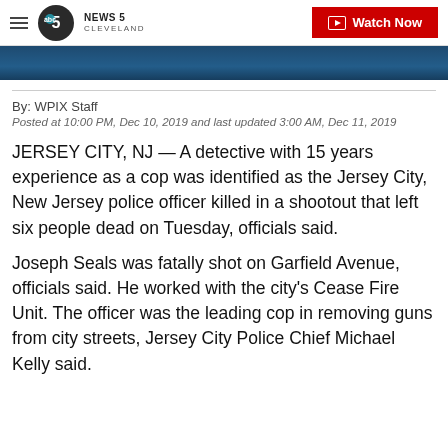NEWS 5 CLEVELAND — Watch Now
[Figure (photo): Dark blue banner image strip at top of article]
By: WPIX Staff
Posted at 10:00 PM, Dec 10, 2019 and last updated 3:00 AM, Dec 11, 2019
JERSEY CITY, NJ — A detective with 15 years experience as a cop was identified as the Jersey City, New Jersey police officer killed in a shootout that left six people dead on Tuesday, officials said.
Joseph Seals was fatally shot on Garfield Avenue, officials said. He worked with the city's Cease Fire Unit. The officer was the leading cop in removing guns from city streets, Jersey City Police Chief Michael Kelly said.